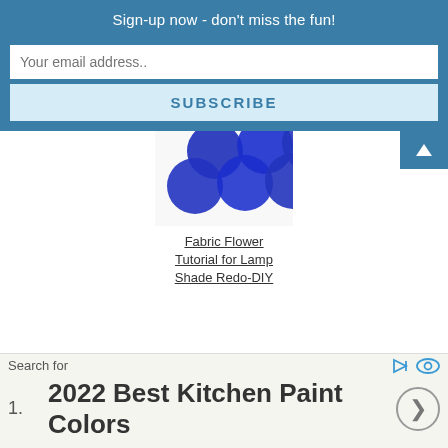Sign-up now - don't miss the fun!
Your email address..
SUBSCRIBE
[Figure (photo): Blue fabric circles/flowers clustered together on white background]
Fabric Flower Tutorial for Lamp Shade Redo-DIY
[Figure (photo): Partial view of a colorful image with yellow, black, and blue sections]
Search for
1. 2022 Best Kitchen Paint Colors